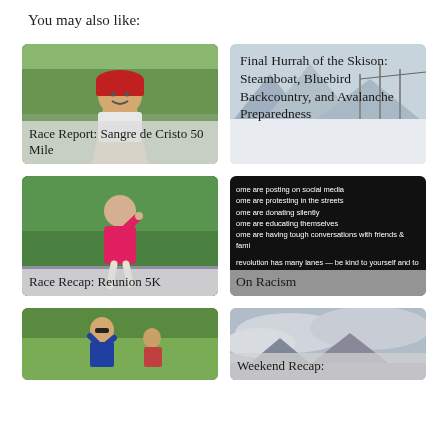You may also like:
[Figure (photo): Card: person in red cap on trail path, overlaid with title 'Race Report: Sangre de Cristo 50 Mile']
[Figure (photo): Card: snowy ski mountain scene with title 'Final Hurrah of the Skison: Steamboat, Bluebird Backcountry, and Avalanche Preparedness']
[Figure (photo): Card: woman in pink running shirt pointing up, overlaid with title 'Race Recap: Reunion 5K']
[Figure (photo): Card: black background with white text lines about social media/protest/racism, overlaid with title 'On Racism']
[Figure (photo): Card: people in field, partially visible]
[Figure (photo): Card: mountain/cloud scene with partial title 'Weekend Recap:']